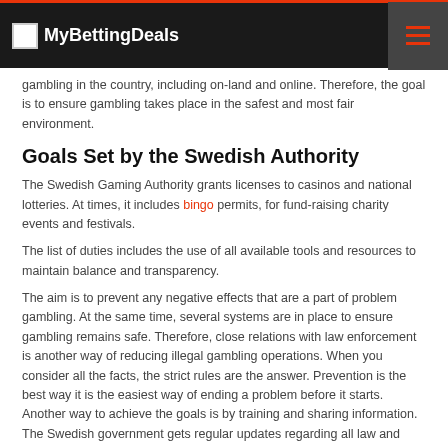MyBettingDeals
gambling in the country, including on-land and online. Therefore, the goal is to ensure gambling takes place in the safest and most fair environment.
Goals Set by the Swedish Authority
The Swedish Gaming Authority grants licenses to casinos and national lotteries. At times, it includes bingo permits, for fund-raising charity events and festivals.
The list of duties includes the use of all available tools and resources to maintain balance and transparency.
The aim is to prevent any negative effects that are a part of problem gambling. At the same time, several systems are in place to ensure gambling remains safe. Therefore, close relations with law enforcement is another way of reducing illegal gambling operations. When you consider all the facts, the strict rules are the answer. Prevention is the best way it is the easiest way of ending a problem before it starts. Another way to achieve the goals is by training and sharing information. The Swedish government gets regular updates regarding all law and other changes.